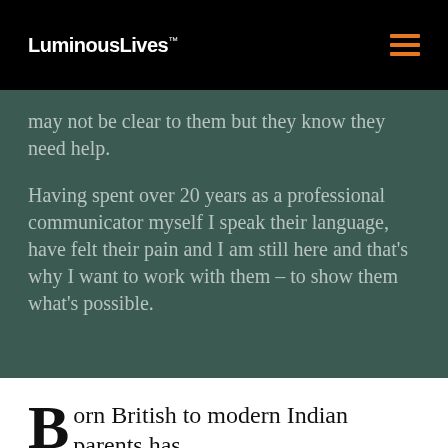Luminous Lives™
may not be clear to them but they know they need help.
Having spent over 20 years as a professional communicator myself I speak their language, have felt their pain and I am still here and that's why I want to work with them – to show them what's possible.
Born British to modern Indian parents has